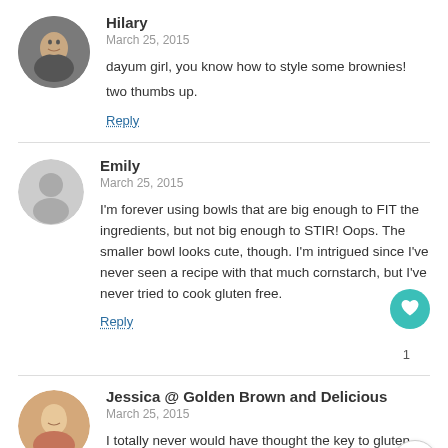[Figure (photo): Circular avatar photo of Hilary, a young woman smiling]
Hilary
March 25, 2015
dayum girl, you know how to style some brownies!

two thumbs up.
Reply
[Figure (illustration): Default grey circular avatar placeholder icon for Emily]
Emily
March 25, 2015
I'm forever using bowls that are big enough to FIT the ingredients, but not big enough to STIR! Oops. The smaller bowl looks cute, though. I'm intrigued since I've never seen a recipe with that much cornstarch, but I've never tried to cook gluten free.
Reply
[Figure (photo): Circular avatar photo of Jessica, a young woman smiling]
Jessica @ Golden Brown and Delicious
March 25, 2015
I totally never would have thought the key to gluten